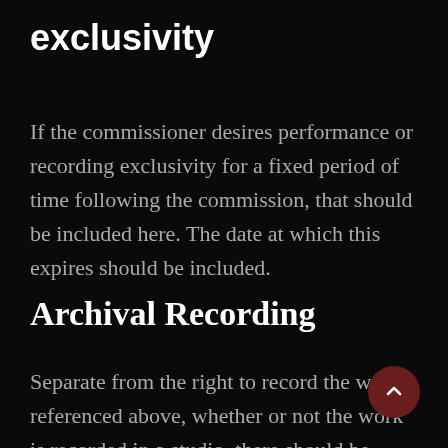exclusivity
If the commissioner desires performance or recording exclusivity for a fixed period of time following the commission, that should be included here. The date at which this expires should be included.
Archival Recording
Separate from the right to record the work referenced above, whether or not the work is recorded in a studio, there should be clarification made on whether archival